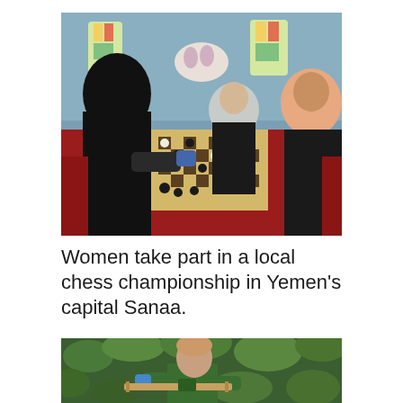[Figure (photo): Women in hijabs and niqabs playing chess at a table covered with a red tablecloth, inside a decorated hall with blue tilework and stained glass windows. Two chess boards are visible on the table.]
Women take part in a local chess championship in Yemen’s capital Sanaa.
[Figure (photo): A woman in a green uniform and blue gloves working outdoors among green foliage, holding a wooden plank or tool.]